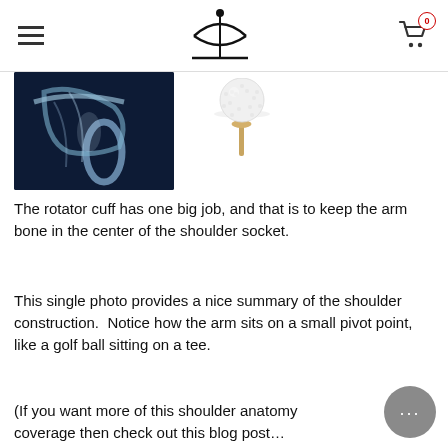Navigation header with logo, hamburger menu, and cart icon (0 items)
[Figure (photo): X-ray image of a shoulder joint showing the arm bone and shoulder socket, dark blue background]
[Figure (photo): Golf ball sitting on a tee, white ball on a wooden tee]
The rotator cuff has one big job, and that is to keep the arm bone in the center of the shoulder socket.
This single photo provides a nice summary of the shoulder construction.  Notice how the arm sits on a small pivot point, like a golf ball sitting on a tee.
(If you want more of this shoulder anatomy coverage then check out this blog post… Everything You Need to Know About the Shoulder)